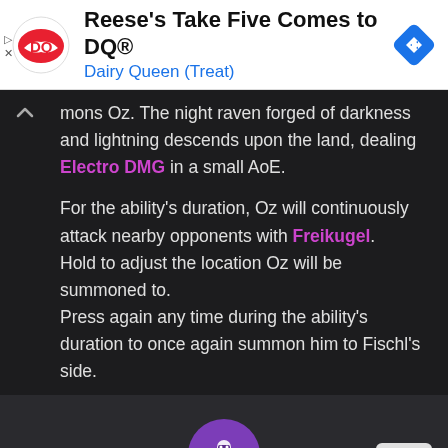[Figure (infographic): Dairy Queen advertisement banner with DQ logo, text 'Reese's Take Five Comes to DQ®' and 'Dairy Queen (Treat)', and a blue navigation arrow icon on the right.]
mons Oz. The night raven forged of darkness and lightning descends upon the land, dealing Electro DMG in a small AoE.

For the ability's duration, Oz will continuously attack nearby opponents with Freikugel.
Hold to adjust the location Oz will be summoned to.
Press again any time during the ability's duration to once again summon him to Fischl's side.
[Figure (illustration): Purple circular icon with white winged figure (Fischl's raven Oz) and text 'Midnight Phantasmagoria' in purple below it.]
Midnight Phantasmagoria